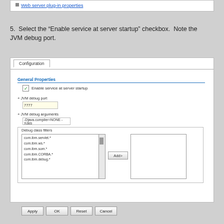[Figure (screenshot): Partial screenshot showing Web server plug-in properties link]
5. Select the “Enable service at server startup” checkbox. Note the JVM debug port.
[Figure (screenshot): Configuration tab screenshot showing General Properties with Enable service at server startup checkbox, JVM debug port field showing 7777, JVM debug arguments field showing -Djava.compiler=NONE -Xdeb, Debug class filters list with com.ibm.servlet.*, com.ibm.ws.*, com.ibm.som.*, com.ibm.CORBA.*, com.ibm.debug.*, Add button, and empty right list]
[Figure (screenshot): Apply, OK, Reset, Cancel buttons]